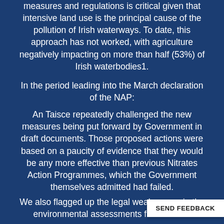measures and regulations is critical given that intensive land use is the principal cause of the pollution of Irish waterways. To date, this approach has not worked, with agriculture negatively impacting on more than half (53%) of Irish waterbodies1.
In the period leading into the March declaration of the NAP:
An Taisce repeatedly challenged the new measures being put forward by Government in draft documents. Those proposed actions were based on a paucity of evidence that they would be any more effective than previous Nitrates Action Programmes, which the Government themselves admitted had failed.
We also flagged up the legal weaknesses in the environmental assessments for the NAP.
We repeatedly highlighted the scientific evidence which clearly makes the case for more ambitious and far-reaching measures, and far more rigorous assessment.
To address those shortcomings An Taisce made a number of recommendations in the consultation proce...